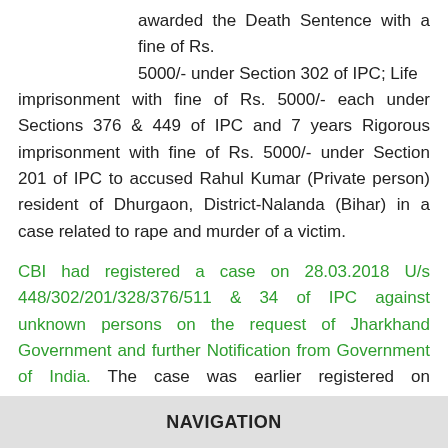awarded the Death Sentence with a fine of Rs. 5000/- under Section 302 of IPC; Life imprisonment with fine of Rs. 5000/- each under Sections 376 & 449 of IPC and 7 years Rigorous imprisonment with fine of Rs. 5000/- under Section 201 of IPC to accused Rahul Kumar (Private person) resident of Dhurgaon, District-Nalanda (Bihar) in a case related to rape and murder of a victim.
CBI had registered a case on 28.03.2018 U/s 448/302/201/328/376/511 & 34 of IPC against unknown persons on the request of Jharkhand Government and further Notification from Government of India. The case was earlier registered on 16.12.2016 at Sadar Police Station, Ranchi and later handed over to CID of Jharkhand. It was alleged that on 15/16.12.2016, the
NAVIGATION